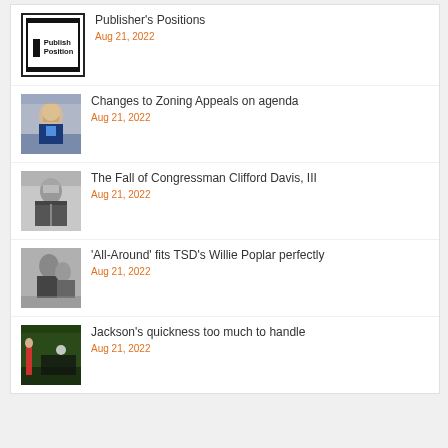Publisher's Positions — Aug 21, 2022
Changes to Zoning Appeals on agenda — Aug 21, 2022
The Fall of Congressman Clifford Davis, III — Aug 21, 2022
'All-Around' fits TSD's Willie Poplar perfectly — Aug 21, 2022
Jackson's quickness too much to handle — Aug 21, 2022